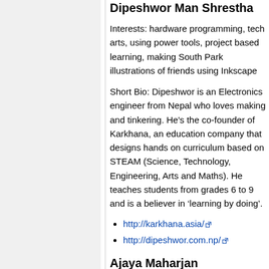Dipeshwor Man Shrestha
Interests: hardware programming, tech arts, using power tools, project based learning, making South Park illustrations of friends using Inkscape
Short Bio: Dipeshwor is an Electronics engineer from Nepal who loves making and tinkering. He's the co-founder of Karkhana, an education company that designs hands on curriculum based on STEAM (Science, Technology, Engineering, Arts and Maths). He teaches students from grades 6 to 9 and is a believer in ‘learning by doing’.
http://karkhana.asia/
http://dipeshwor.com.np/
Ajaya Maharjan
Interests: hardware programming, tech